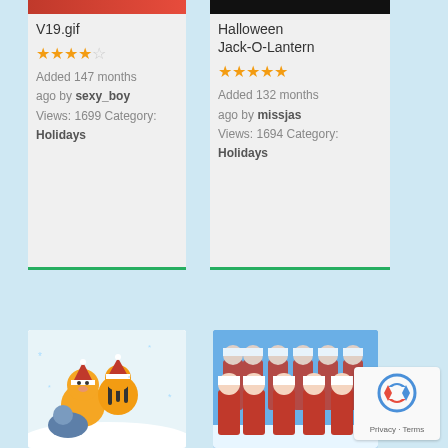[Figure (screenshot): Card with red banner thumbnail for V19.gif]
V19.gif
★★★★☆ Added 147 months ago by sexy_boy Views: 1699 Category: Holidays
[Figure (screenshot): Card with black banner thumbnail for Halloween Jack-O-Lantern]
Halloween Jack-O-Lantern
★★★★★ Added 132 months ago by missjas Views: 1694 Category: Holidays
[Figure (illustration): Winnie the Pooh characters in Christmas setting]
[Figure (photo): Group of women dressed as Santa Claus]
[Figure (logo): Google reCAPTCHA badge with Privacy and Terms links]